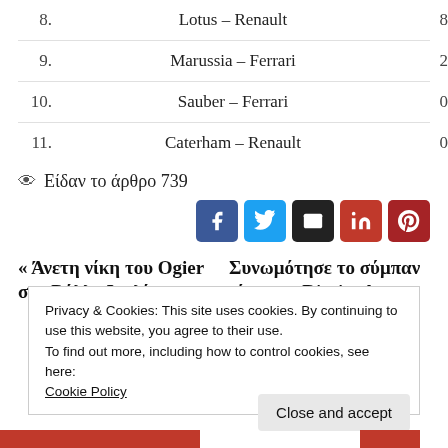8. Lotus – Renault 8
9. Marussia – Ferrari 2
10. Sauber – Ferrari 0
11. Caterham – Renault 0
👁 Είδαν το άρθρο 739
[Figure (infographic): Social share buttons: Facebook, Twitter, Email, LinkedIn, Pinterest]
« Άνετη νίκη του Ogier στο Ράλλυ Ιουλίου   Συνωμότησε το σύμπαν νίκησε ο Ricciardo »
Privacy & Cookies: This site uses cookies. By continuing to use this website, you agree to their use.
To find out more, including how to control cookies, see here: Cookie Policy
Close and accept